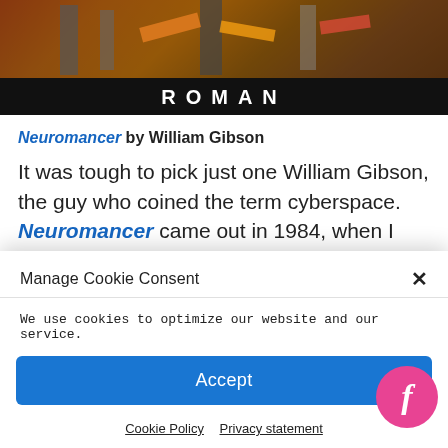[Figure (photo): Book cover image showing 'ROMAN' text at bottom in white letters on dark background with colorful scene above]
Neuromancer by William Gibson
It was tough to pick just one William Gibson, the guy who coined the term cyberspace. Neuromancer came out in 1984, when I was 14,
Manage Cookie Consent
We use cookies to optimize our website and our service.
Accept
Cookie Policy   Privacy statement